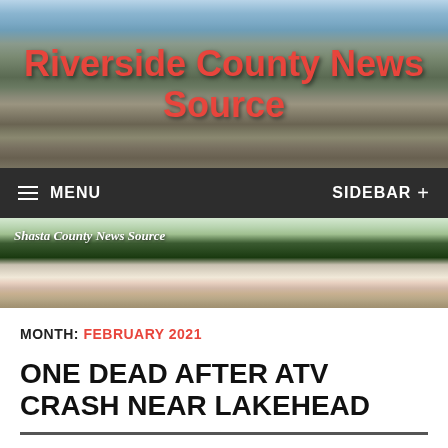[Figure (photo): Mountain landscape banner with reddish text overlay reading Riverside County News Source]
Riverside County News Source
MENU | SIDEBAR +
[Figure (photo): Snow-capped mountain (Mount Shasta) landscape banner with text Shasta County News Source]
MONTH: FEBRUARY 2021
ONE DEAD AFTER ATV CRASH NEAR LAKEHEAD
February 28, 2021 | Trevor Montgomery |